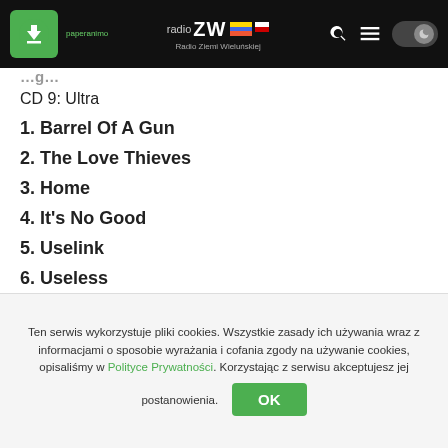radio ZW Radio Ziemi Wieluńskiej
CD 9: Ultra
1. Barrel Of A Gun
2. The Love Thieves
3. Home
4. It's No Good
5. Uselink
6. Useless
7. Sister Of Night
8. Jazz Thieves
Ten serwis wykorzystuje pliki cookies. Wszystkie zasady ich używania wraz z informacjami o sposobie wyrażania i cofania zgody na używanie cookies, opisaliśmy w Polityce Prywatności. Korzystając z serwisu akceptujesz jej postanowienia.